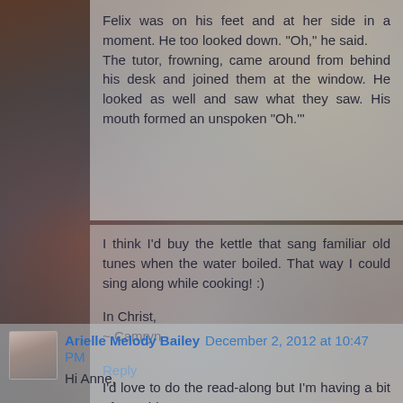Felix was on his feet and at her side in a moment. He too looked down. “Oh,” he said.
The tutor, frowning, came around from behind his desk and joined them at the window. He looked as well and saw what they saw. His mouth formed an unspoken “Oh.’”
I think I'd buy the kettle that sang familiar old tunes when the water boiled. That way I could sing along while cooking! :)
In Christ,
~ Camryn
Reply
Arielle Melody Bailey  December 2, 2012 at 10:47 PM
Hi Anne,
I'd love to do the read-along but I'm having a bit of a problem.